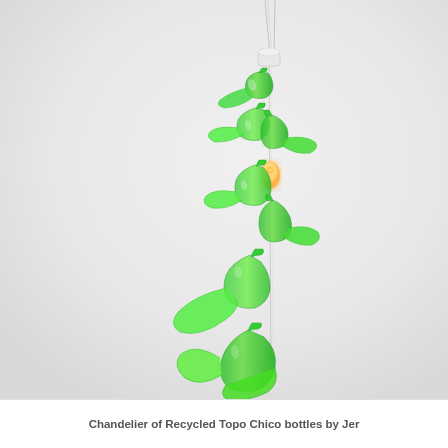[Figure (photo): A chandelier made from recycled green Topo Chico glass bottles that have been cut and shaped into flowing, curved forms. The bottles cascade diagonally from upper center to lower center-right of the image, suspended by thin wires from a ceiling mount with a white ceramic fixture and Edison-style bulb glowing amber. The green glass pieces fan outward in a spiral arrangement against a light gray-white background.]
Chandelier of Recycled Topo Chico bottles by Jer